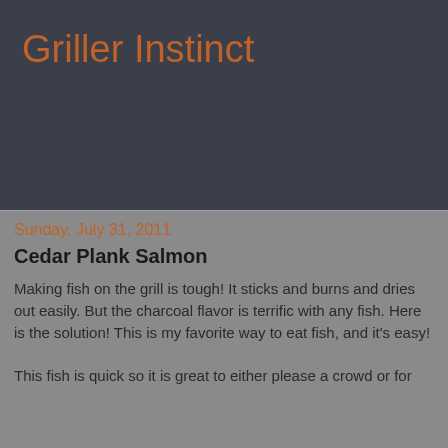Griller Instinct
Sunday, July 31, 2011
Cedar Plank Salmon
Making fish on the grill is tough!  It sticks and burns and dries out easily.  But the charcoal flavor is terrific with any fish.  Here is the solution!  This is my favorite way to eat fish, and it's easy!
This fish is quick so it is great to either please a crowd or for